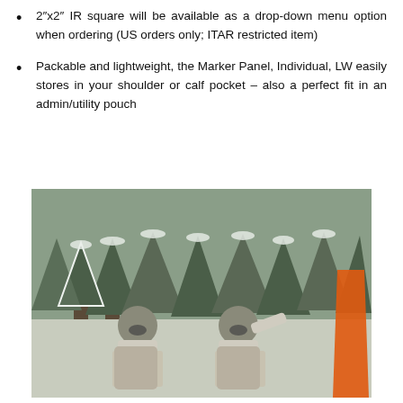2″x2″ IR square will be available as a drop-down menu option when ordering (US orders only; ITAR restricted item)
Packable and lightweight, the Marker Panel, Individual, LW easily stores in your shoulder or calf pocket – also a perfect fit in an admin/utility pouch
[Figure (photo): Two soldiers in white winter camouflage uniforms kneeling in snow-covered terrain with snow-laden evergreen trees in the background and an orange marker panel visible on the right side.]